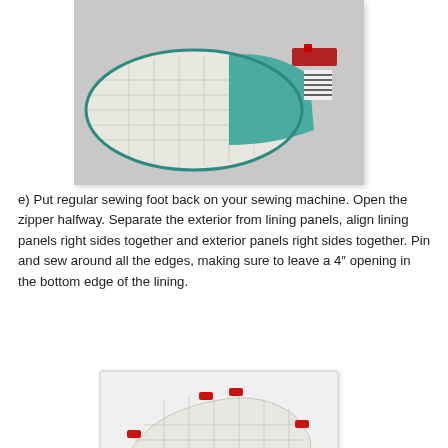[Figure (photo): A quilted iron-board-shaped fabric piece with white grid-patterned fabric and teal/green lining, partially folded open to show interior, with red zipper and striped tab at one end, on a gray background.]
e) Put regular sewing foot back on your sewing machine. Open the zipper halfway. Separate the exterior from lining panels, align lining panels right sides together and exterior panels right sides together. Pin and sew around all the edges, making sure to leave a 4″ opening in the bottom edge of the lining.
[Figure (photo): An iron-board-shaped quilted fabric panel laid flat with approximately 12 red sewing clips pinned around the edges, on a white background, showing the pinned perimeter ready for sewing.]